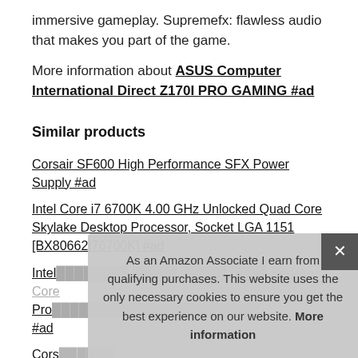immersive gameplay. Supremefx: flawless audio that makes you part of the game.
More information about ASUS Computer International Direct Z170I PRO GAMING #ad
Similar products
Corsair SF600 High Performance SFX Power Supply #ad
Intel Core i7 6700K 4.00 GHz Unlocked Quad Core Skylake Desktop Processor, Socket LGA 1151 [BX80662I76700K] #ad
Intel [partially obscured] Skylake Core Desktop Processor [partially obscured] #ad
Cors[air — partially obscured]
Fractal Design Cases FD-CA-DEF-NANO-S-BK #ad
As an Amazon Associate I earn from qualifying purchases. This website uses the only necessary cookies to ensure you get the best experience on our website. More information